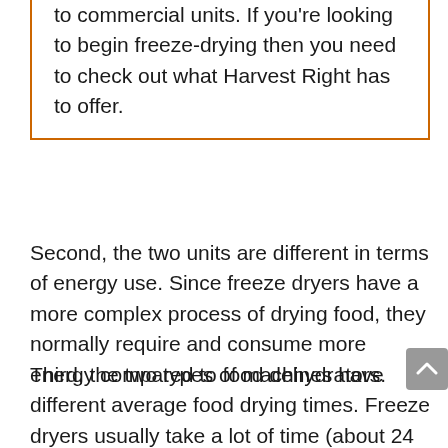to commercial units. If you're looking to begin freeze-drying then you need to check out what Harvest Right has to offer.
Second, the two units are different in terms of energy use. Since freeze dryers have a more complex process of drying food, they normally require and consume more energy compared to food dehydrators.
Third, the two types of machines have different average food drying times. Freeze dryers usually take a lot of time (about 24 hours) to dry food while most food dehydrators take much less time (between 4 to 10 hours) to dry food.